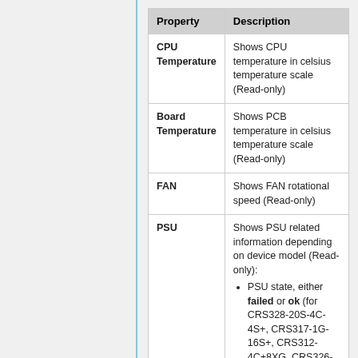| Property | Description |
| --- | --- |
| CPU Temperature | Shows CPU temperature in celsius temperature scale (Read-only) |
| Board Temperature | Shows PCB temperature in celsius temperature scale (Read-only) |
| FAN | Shows FAN rotational speed (Read-only) |
| PSU | Shows PSU related information depending on device model (Read-only): PSU state, either failed or ok (for CRS328-20S-4C-4S+, CRS317-1G-16S+, CRS312-4C+8XG, CRS326-24S+2Q+) PSU voltage and consumed miliamperes |